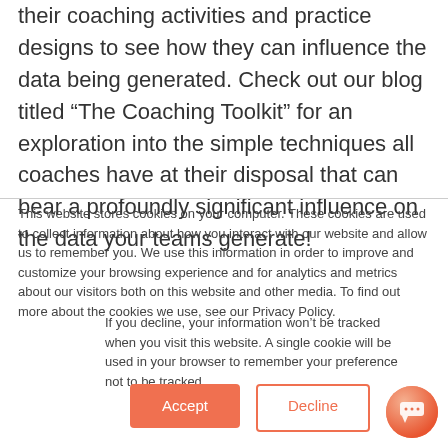their coaching activities and practice designs to see how they can influence the data being generated. Check out our blog titled “The Coaching Toolkit” for an exploration into the simple techniques all coaches have at their disposal that can bear a profoundly significant influence on the data your teams generate!
This website stores cookies on your computer. These cookies are used to collect information about how you interact with our website and allow us to remember you. We use this information in order to improve and customize your browsing experience and for analytics and metrics about our visitors both on this website and other media. To find out more about the cookies we use, see our Privacy Policy.
If you decline, your information won’t be tracked when you visit this website. A single cookie will be used in your browser to remember your preference not to be tracked.
Accept
Decline